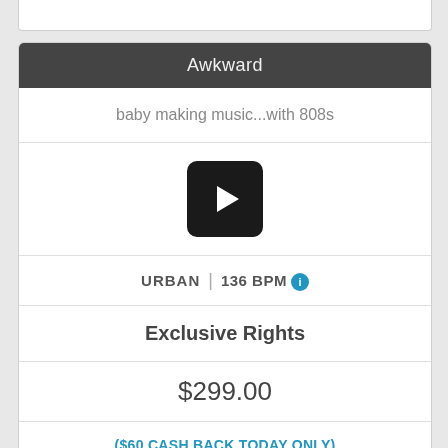Awkward
baby making music...with 808s
[Figure (other): Black rounded square play button icon]
URBAN | 136 BPM ℹ
Exclusive Rights
$299.00
($60 CASH BACK TODAY ONLY)
Buy it now $239.00